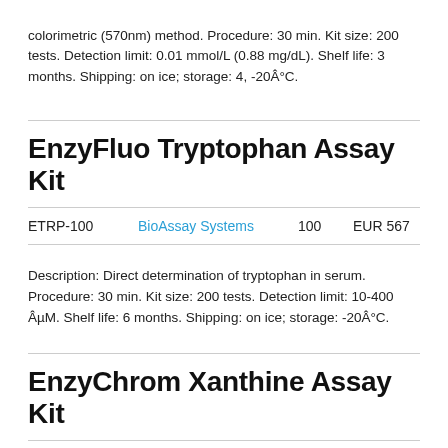colorimetric (570nm) method. Procedure: 30 min. Kit size: 200 tests. Detection limit: 0.01 mmol/L (0.88 mg/dL). Shelf life: 3 months. Shipping: on ice; storage: 4, -20Â°C.
EnzyFluo Tryptophan Assay Kit
| Cat# | Supplier | Qty | Price |
| --- | --- | --- | --- |
| ETRP-100 | BioAssay Systems | 100 | EUR 567 |
Description: Direct determination of tryptophan in serum. Procedure: 30 min. Kit size: 200 tests. Detection limit: 10-400 ÂµM. Shelf life: 6 months. Shipping: on ice; storage: -20Â°C.
EnzyChrom Xanthine Assay Kit
| Cat# | Supplier | Qty | Price |
| --- | --- | --- | --- |
| EXAN-100 | BioAssay Systems | 100 | EUR 340 |